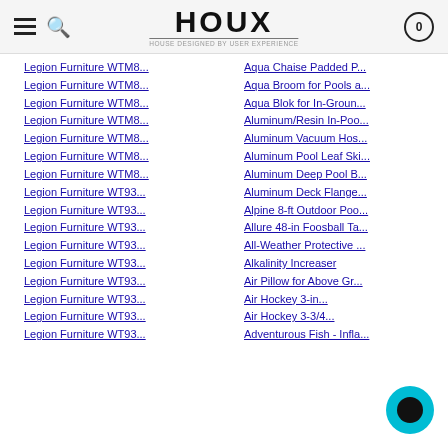HOUX - HOUSE DESIGNED BY USER EXPERIENCE
Legion Furniture WTM8...
Legion Furniture WTM8...
Legion Furniture WTM8...
Legion Furniture WTM8...
Legion Furniture WTM8...
Legion Furniture WTM8...
Legion Furniture WTM8...
Legion Furniture WT93...
Legion Furniture WT93...
Legion Furniture WT93...
Legion Furniture WT93...
Legion Furniture WT93...
Legion Furniture WT93...
Legion Furniture WT93...
Legion Furniture WT93...
Legion Furniture WT93...
Aqua Chaise Padded P...
Aqua Broom for Pools a...
Aqua Blok for In-Groun...
Aluminum/Resin In-Poo...
Aluminum Vacuum Hos...
Aluminum Pool Leaf Ski...
Aluminum Deep Pool B...
Aluminum Deck Flange...
Alpine 8-ft Outdoor Poo...
Allure 48-in Foosball Ta...
All-Weather Protective ...
Alkalinity Increaser
Air Pillow for Above Gr...
Air Hockey 3-in...
Air Hockey 3-3/4...
Adventurous Fish - Infla...